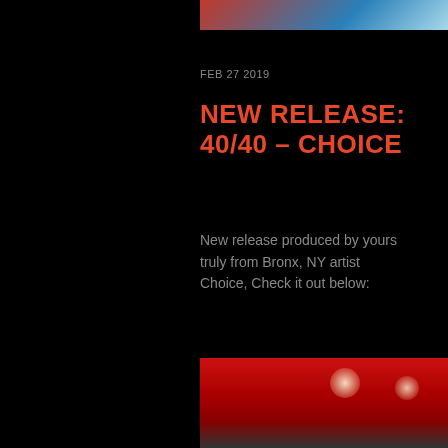[Figure (photo): Partial photo at top of page, showing colorful abstract image cropped at top]
FEB 27 2019
NEW RELEASE: 40/40 – CHOICE
New release produced by yours truly from Bronx, NY artist Choice, Check it out below:
[Figure (photo): Partial photo at bottom of page showing red background with a person's face partially visible]